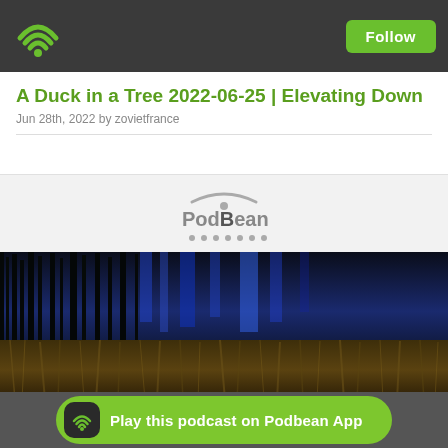Podbean app navigation bar with WiFi logo and Follow button
A Duck in a Tree 2022-06-25 | Elevating Down
Jun 28th, 2022 by zovietfrance
[Figure (screenshot): Podbean audio player widget with PodBean logo and loading dots]
[Figure (photo): Abstract nature photograph showing dark silhouetted grass or reeds against a blue-lit background, with warm earth tones in lower half]
Play this podcast on Podbean App